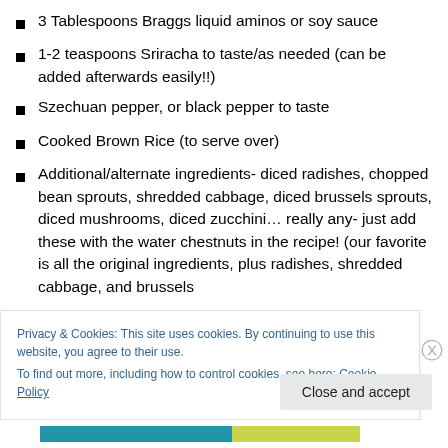3 Tablespoons Braggs liquid aminos or soy sauce
1-2 teaspoons Sriracha to taste/as needed (can be added afterwards easily!!)
Szechuan pepper, or black pepper to taste
Cooked Brown Rice (to serve over)
Additional/alternate ingredients- diced radishes, chopped bean sprouts, shredded cabbage, diced brussels sprouts, diced mushrooms, diced zucchini... really any- just add these with the water chestnuts in the recipe! (our favorite is all the original ingredients, plus radishes, shredded cabbage, and brussels
Privacy & Cookies: This site uses cookies. By continuing to use this website, you agree to their use.
To find out more, including how to control cookies, see here: Cookie Policy
Close and accept